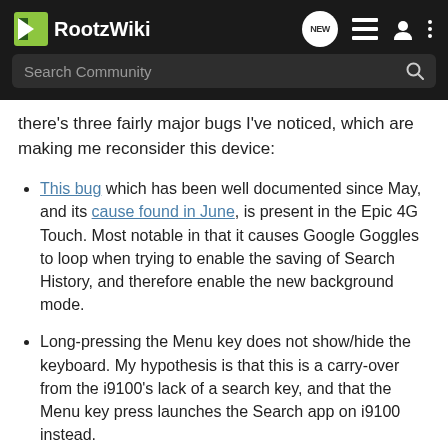RootzWiki — navigation and search bar
there's three fairly major bugs I've noticed, which are making me reconsider this device:
This bug which has been well documented since May, and its cause found in June, is present in the Epic 4G Touch. Most notable in that it causes Google Goggles to loop when trying to enable the saving of Search History, and therefore enable the new background mode.
Long-pressing the Menu key does not show/hide the keyboard. My hypothesis is that this is a carry-over from the i9100's lack of a search key, and that the Menu key press launches the Search app on i9100 instead.
Wired headset control buttons do nothing. On every other Android device I've used, both stock and third-party firmwares, the headset control button always